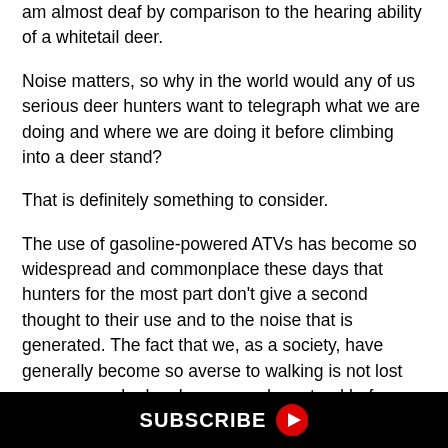am almost deaf by comparison to the hearing ability of a whitetail deer.
Noise matters, so why in the world would any of us serious deer hunters want to telegraph what we are doing and where we are doing it before climbing into a deer stand?
That is definitely something to consider.
The use of gasoline-powered ATVs has become so widespread and commonplace these days that hunters for the most part don't give a second thought to their use and to the noise that is generated. The fact that we, as a society, have generally become so averse to walking is not lost on anyone who has been on a deer stand before dawn, listening in the distance to the sounds of ATVs
SUBSCRIBE ▶